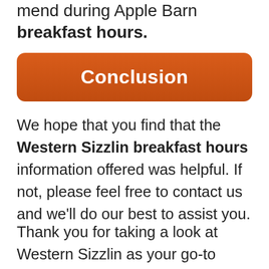mend during Apple Barn breakfast hours.
Conclusion
​We hope that you find that the Western Sizzlin breakfast hours information offered was helpful. If not, please feel free to contact us and we'll do our best to assist you.
​Thank you for taking a look at Western Sizzlin as your go-to place for breakfast! Check out our breakfast